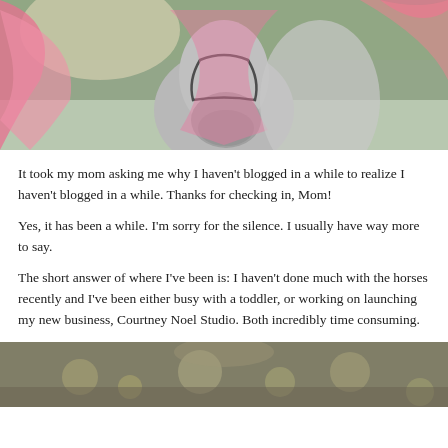[Figure (photo): A grey horse with pink flowing fabric/veil draped over its head, photographed outdoors with trees in background. Close-up portrait shot.]
It took my mom asking me why I haven't blogged in a while to realize I haven't blogged in a while. Thanks for checking in, Mom!
Yes, it has been a while. I'm sorry for the silence. I usually have way more to say.
The short answer of where I've been is: I haven't done much with the horses recently and I've been either busy with a toddler, or working on launching my new business, Courtney Noel Studio. Both incredibly time consuming.
[Figure (photo): Bottom portion of an outdoor photo, showing a blurred background with bokeh light effects, earthy and green tones.]